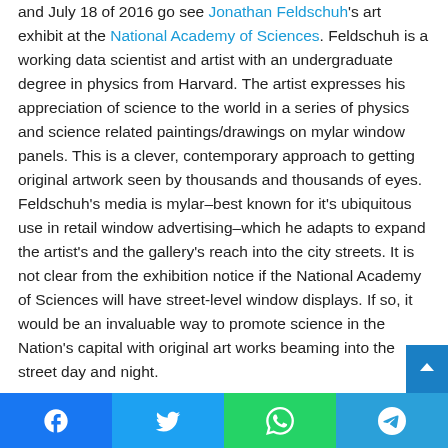and July 18 of 2016 go see Jonathan Feldschuh's art exhibit at the National Academy of Sciences. Feldschuh is a working data scientist and artist with an undergraduate degree in physics from Harvard. The artist expresses his appreciation of science to the world in a series of physics and science related paintings/drawings on mylar window panels. This is a clever, contemporary approach to getting original artwork seen by thousands and thousands of eyes. Feldschuh's media is mylar–best known for it's ubiquitous use in retail window advertising–which he adapts to expand the artist's and the gallery's reach into the city streets. It is not clear from the exhibition notice if the National Academy of Sciences will have street-level window displays. If so, it would be an invaluable way to promote science in the Nation's capital with original art works beaming into the street day and night.
Facebook | Twitter | WhatsApp | Telegram